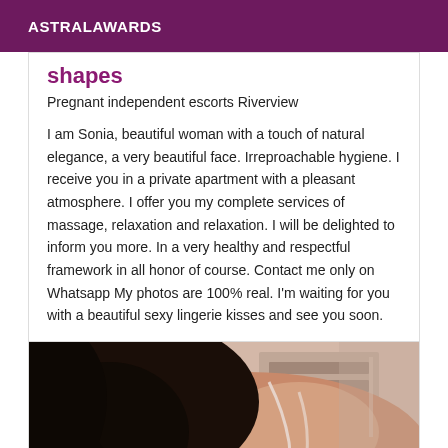ASTRALAWARDS
shapes
Pregnant independent escorts Riverview
I am Sonia, beautiful woman with a touch of natural elegance, a very beautiful face. Irreproachable hygiene. I receive you in a private apartment with a pleasant atmosphere. I offer you my complete services of massage, relaxation and relaxation. I will be delighted to inform you more. In a very healthy and respectful framework in all honor of course. Contact me only on Whatsapp My photos are 100% real. I'm waiting for you with a beautiful sexy lingerie kisses and see you soon.
[Figure (photo): Photo of a woman's back and shoulder, dark hair, wearing a thin strap top, indoors]